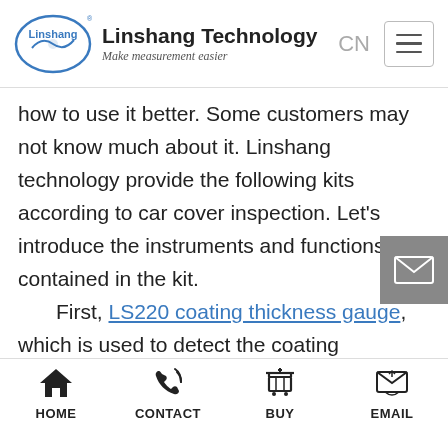Linshang Technology — Make measurement easier
how to use it better. Some customers may not know much about it. Linshang technology provide the following kits according to car cover inspection. Let's introduce the instruments and functions contained in the kit.
    First, LS220 coating thickness gauge, which is used to detect the coating thickness of the garment. The new generation of invisible car clothes are basically produced by using TPU substrate plus nano-coating technology. Nano-coating is the backbone of scratch self-healing a anti-mite. Under the same thickness as TPU base layer, nano-coating. The thicker the layer, the better the
HOME   CONTACT   BUY   EMAIL